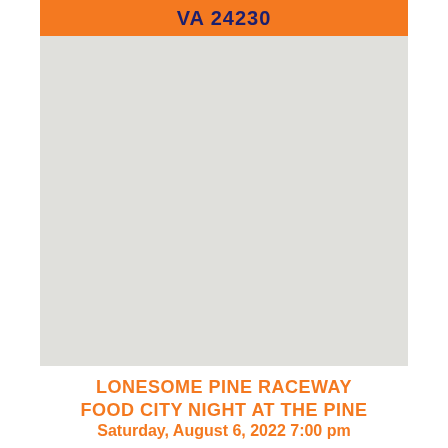VA 24230
[Figure (map): A map image area showing a location, light gray background representing a geographic map view.]
LONESOME PINE RACEWAY
FOOD CITY NIGHT AT THE PINE
Saturday, August 6, 2022 7:00 pm